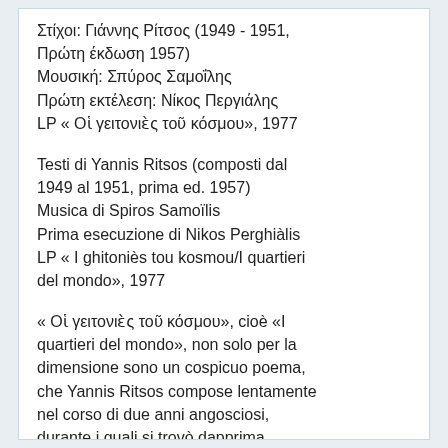Στίχοι: Γιάννης Ρίτσος (1949 - 1951, Πρώτη έκδωση 1957)
Μουσική: Σπύρος Σαμοΐλης
Πρώτη εκτέλεση: Νίκος Περγιάλης
LP « Οἱ γειτονιὲς τοῦ κόσμου», 1977
Testi di Yannis Ritsos (composti dal 1949 al 1951, prima ed. 1957)
Musica di Spiros Samoïlis
Prima esecuzione di Nikos Perghiàlis
LP « I ghitoniès tou kosmou/I quartieri del mondo», 1977
« Οἱ γειτονιὲς τοῦ κόσμου», cioè «I quartieri del mondo», non solo per la dimensione sono un cospicuo poema, che Yannis Ritsos compose lentamente nel corso di due anni angosciosi, durante i quali si trovò dapprima ristretto nel famigerato campo di concentramento allestito sull'isola di Makronissos e deportato poi in quello di Ai-Stratis. Per quanto inadatto e poco